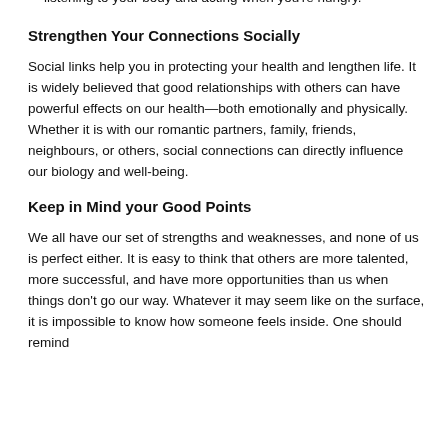listening to your body and acting when you're hungry.
Strengthen Your Connections Socially
Social links help you in protecting your health and lengthen life. It is widely believed that good relationships with others can have powerful effects on our health—both emotionally and physically. Whether it is with our romantic partners, family, friends, neighbours, or others, social connections can directly influence our biology and well-being.
Keep in Mind your Good Points
We all have our set of strengths and weaknesses, and none of us is perfect either. It is easy to think that others are more talented, more successful, and have more opportunities than us when things don't go our way. Whatever it may seem like on the surface, it is impossible to know how someone feels inside. One should remind